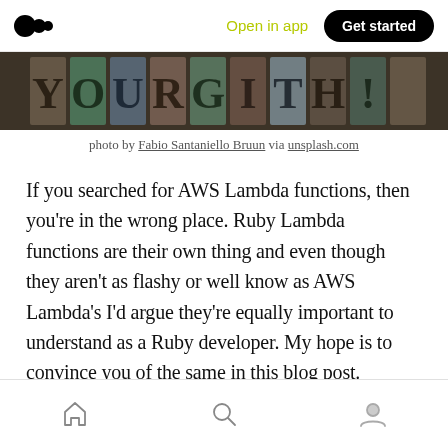Open in app  Get started
[Figure (photo): Close-up photo of vintage letterpress typography blocks showing various letters and characters, muted dark tones]
photo by Fabio Santaniello Bruun via unsplash.com
If you searched for AWS Lambda functions, then you’re in the wrong place. Ruby Lambda functions are their own thing and even though they aren’t as flashy or well know as AWS Lambda’s I’d argue they’re equally important to understand as a Ruby developer. My hope is to convince you of the same in this blog post.
Home  Search  Profile